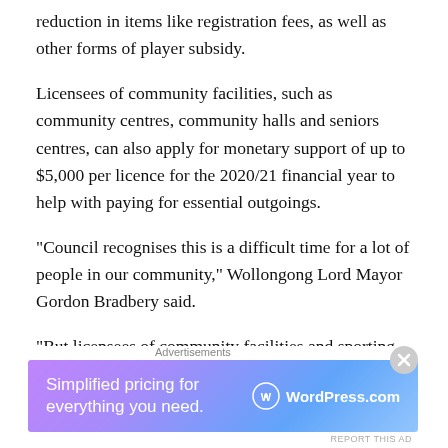reduction in items like registration fees, as well as other forms of player subsidy.
Licensees of community facilities, such as community centres, community halls and seniors centres, can also apply for monetary support of up to $5,000 per licence for the 2020/21 financial year to help with paying for essential outgoings.
“Council recognises this is a difficult time for a lot of people in our community,” Wollongong Lord Mayor Gordon Bradbery said.
“But licensees of community facilities and sporting groups can be particularly hard hit when they’ve still got outgoing
[Figure (other): Advertisement banner for WordPress.com with text 'Simplified pricing for everything you need.' and WordPress logo on a purple-blue gradient background]